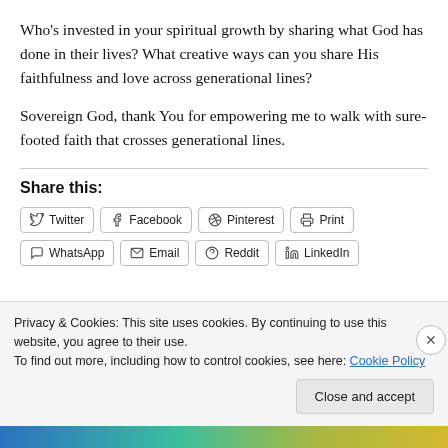Who's invested in your spiritual growth by sharing what God has done in their lives? What creative ways can you share His faithfulness and love across generational lines?
Sovereign God, thank You for empowering me to walk with sure-footed faith that crosses generational lines.
Share this:
[Figure (screenshot): Social share buttons row 1: Twitter, Facebook, Pinterest, Print]
[Figure (screenshot): Social share buttons row 2: WhatsApp, Email, Reddit, LinkedIn]
Privacy & Cookies: This site uses cookies. By continuing to use this website, you agree to their use.
To find out more, including how to control cookies, see here: Cookie Policy
Close and accept